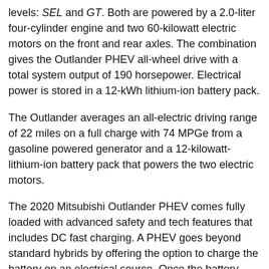levels: SEL and GT. Both are powered by a 2.0-liter four-cylinder engine and two 60-kilowatt electric motors on the front and rear axles. The combination gives the Outlander PHEV all-wheel drive with a total system output of 190 horsepower. Electrical power is stored in a 12-kWh lithium-ion battery pack.
The Outlander averages an all-electric driving range of 22 miles on a full charge with 74 MPGe from a gasoline powered generator and a 12-kilowatt-lithium-ion battery pack that powers the two electric motors.
The 2020 Mitsubishi Outlander PHEV comes fully loaded with advanced safety and tech features that includes DC fast charging. A PHEV goes beyond standard hybrids by offering the option to charge the battery on an electrical source. Once the battery power runs out on a standard hybrid the vehicle operates on gas, whereas the PHEV gives you the option to recharge the electric motor instead of using the engine and brakes to charge it up.